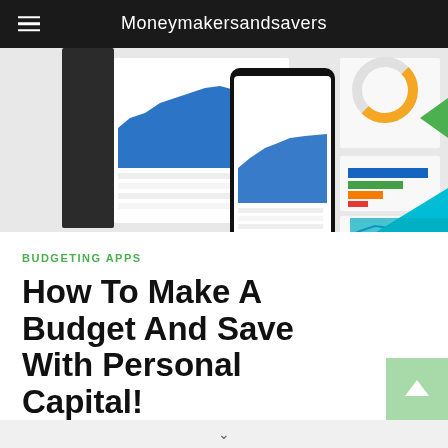Moneymakersandsavers
[Figure (screenshot): Screenshot of Personal Capital budgeting app interface showing financial dashboard with charts, graphs, account balances, and mobile app view]
BUDGETING APPS
How To Make A Budget And Save With Personal Capital!